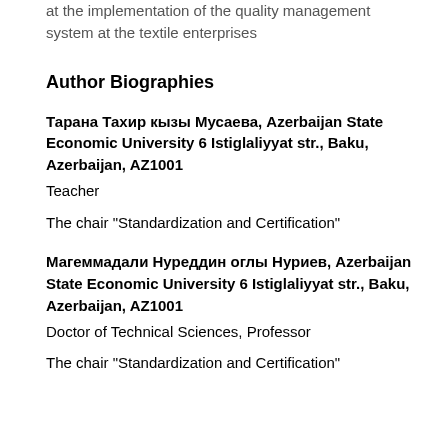at the implementation of the quality management system at the textile enterprises
Author Biographies
Тарана Тахир кызы Мусаева, Azerbaijan State Economic University 6 Istiglaliyyat str., Baku, Azerbaijan, AZ1001
Teacher
The chair "Standardization and Certification"
Магеммадали Нуреддин оглы Нуриев, Azerbaijan State Economic University 6 Istiglaliyyat str., Baku, Azerbaijan, AZ1001
Doctor of Technical Sciences, Professor
The chair "Standardization and Certification"